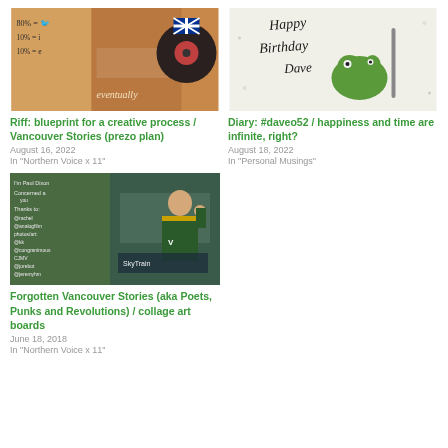[Figure (photo): Album cover or art piece showing handwritten text with percentages (80%, 10%, 10%), food/market scene, and a vinyl record with British flag sticker; text 'eventually' visible]
Riff: blueprint for a creative process / Vancouver Stories (prezo plan)
August 16, 2022
In "Northern Voice x 11"
[Figure (photo): Photo of a cake or card decorated with a green frog figure and handwritten text 'Happy Birthday Dave']
Diary: #daveo52 / happiness and time are infinite, right?
August 18, 2022
In "Personal Musings"
[Figure (photo): Collage of two images: left side shows handwritten credits list on green background (Thanks to: @rachel, @analogfilm, photos/art, @kk, @congranimous, CJMV, @jorebot, @jeremyhm, @dcbuckle2, @donnamaler); right side shows a person in a hockey jersey raising their hand in front of a transit sign]
Forgotten Vancouver Stories (aka Poets, Punks and Revolutions) / collage art boards
June 18, 2018
In "Northern Voice x 11"